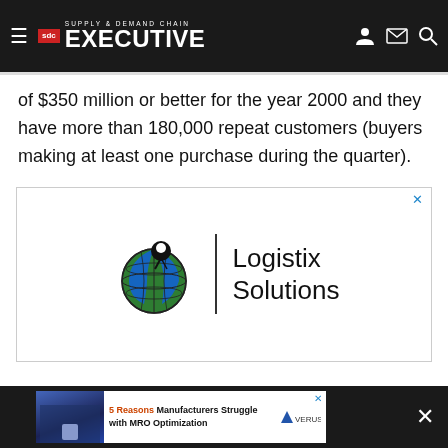SUPPLY & DEMAND CHAIN EXECUTIVE
of $350 million or better for the year 2000 and they have more than 180,000 repeat customers (buyers making at least one purchase during the quarter).
[Figure (logo): Advertisement: Logistix Solutions logo with globe icon and location pin, vertical divider, and brand name text]
[Figure (infographic): Bottom banner advertisement: 5 Reasons Manufacturers Struggle with MRO Optimization, Verusen brand]